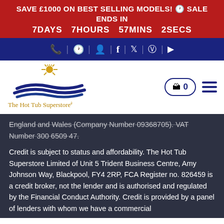SAVE £1000 ON BEST SELLING MODELS! 🕛 SALE ENDS IN 7DAYS 7HOURS 57MINS 2SECS
[Figure (screenshot): Navigation bar with social media and utility icons on dark blue background]
[Figure (logo): The Hot Tub Superstore logo with sun and waves, cart button showing 0 items, and hamburger menu]
England and Wales (Company Number 09368705). VAT Number 300 6509 47.
Credit is subject to status and affordability. The Hot Tub Superstore Limited of Unit 5 Trident Business Centre, Amy Johnson Way, Blackpool, FY4 2RP, FCA Register no. 826459 is a credit broker, not the lender and is authorised and regulated by the Financial Conduct Authority. Credit is provided by a panel of lenders with whom we have a commercial